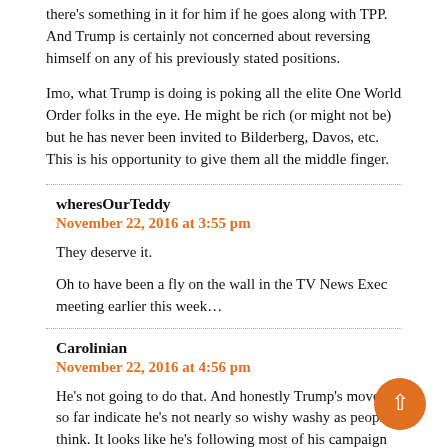there's something in it for him if he goes along with TPP. And Trump is certainly not concerned about reversing himself on any of his previously stated positions.
Imo, what Trump is doing is poking all the elite One World Order folks in the eye. He might be rich (or might not be) but he has never been invited to Bilderberg, Davos, etc. This is his opportunity to give them all the middle finger.
wheresOurTeddy
November 22, 2016 at 3:55 pm
They deserve it.
Oh to have been a fly on the wall in the TV News Exec meeting earlier this week…
Carolinian
November 22, 2016 at 4:56 pm
He's not going to do that. And honestly Trump's moves so far indicate he's not nearly so wishy washy as people think. It looks like he's following most of his campaign rhetoric.